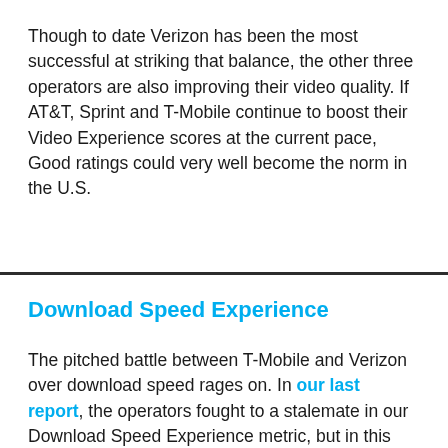Though to date Verizon has been the most successful at striking that balance, the other three operators are also improving their video quality. If AT&T, Sprint and T-Mobile continue to boost their Video Experience scores at the current pace, Good ratings could very well become the norm in the U.S.
Download Speed Experience
The pitched battle between T-Mobile and Verizon over download speed rages on. In our last report, the operators fought to a stalemate in our Download Speed Experience metric, but in this data collection period T-Mobile gained the advantage. It won our